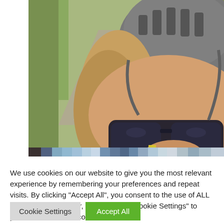[Figure (photo): A cycling selfie photo showing a woman wearing a grey helmet and dark sunglasses in the foreground, with another cyclist visible further down a path/road behind her. The scene is outdoors with greenery visible on the sides.]
We use cookies on our website to give you the most relevant experience by remembering your preferences and repeat visits. By clicking "Accept All", you consent to the use of ALL the cookies. However, you may visit "Cookie Settings" to provide a controlled consent.
Cookie Settings
Accept All